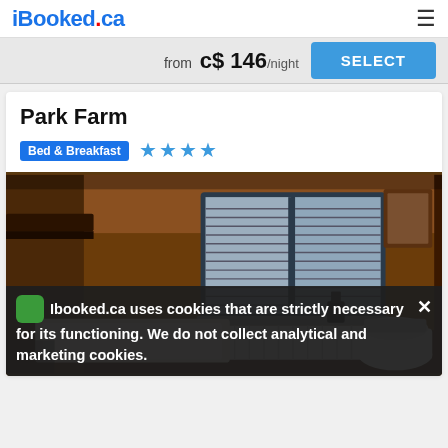iBooked.ca
from c$ 146/night
SELECT
Park Farm
Bed & Breakfast ★★★★
[Figure (photo): Interior bathroom photo of Park Farm property, showing a bathtub, window with horizontal blinds, radiator, and toilet in warm amber lighting]
Ibooked.ca uses cookies that are strictly necessary for its functioning. We do not collect analytical and marketing cookies.